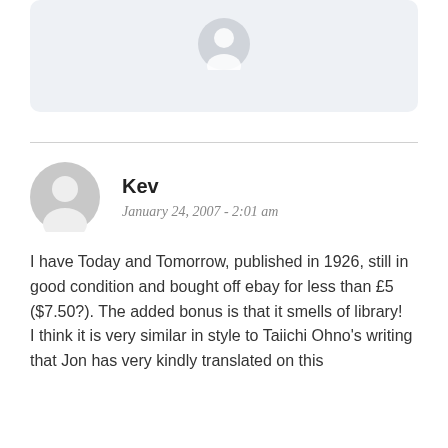[Figure (illustration): Top comment avatar area with light gray rounded box and partial user avatar visible at top]
Kev
January 24, 2007 - 2:01 am
I have Today and Tomorrow, published in 1926, still in good condition and bought off ebay for less than £5 ($7.50?). The added bonus is that it smells of library!
I think it is very similar in style to Taiichi Ohno's writing that Jon has very kindly translated on this